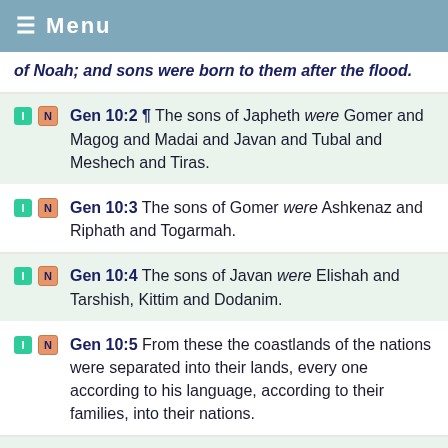☰ Menu
of Noah; and sons were born to them after the flood.
Gen 10:2 ¶ The sons of Japheth were Gomer and Magog and Madai and Javan and Tubal and Meshech and Tiras.
Gen 10:3 The sons of Gomer were Ashkenaz and Riphath and Togarmah.
Gen 10:4 The sons of Javan were Elishah and Tarshish, Kittim and Dodanim.
Gen 10:5 From these the coastlands of the nations were separated into their lands, every one according to his language, according to their families, into their nations.
Gen 10:6 ¶ The sons of Ham were Cush and Mizraim and Put and Canaan.